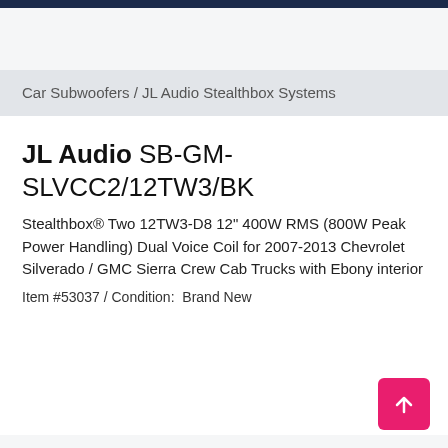Car Subwoofers / JL Audio Stealthbox Systems
JL Audio SB-GM-SLVCC2/12TW3/BK
Stealthbox® Two 12TW3-D8 12" 400W RMS (800W Peak Power Handling) Dual Voice Coil for 2007-2013 Chevrolet Silverado / GMC Sierra Crew Cab Trucks with Ebony interior
Item #53037 / Condition: Brand New